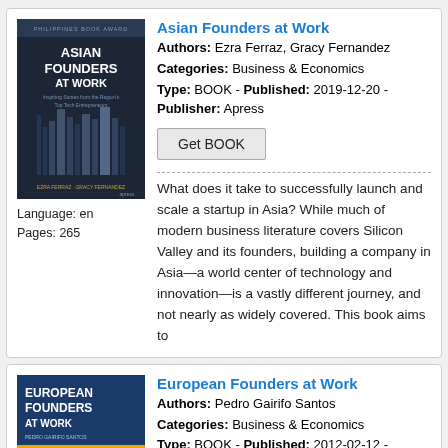[Figure (illustration): Book cover: Asian Founders at Work, dark blue background with building/architecture graphic]
Language: en
Pages: 265
Asian Founders at Work
Authors: Ezra Ferraz, Gracy Fernandez
Categories: Business & Economics
Type: BOOK - Published: 2019-12-20 - Publisher: Apress
Get BOOK
What does it take to successfully launch and scale a startup in Asia? While much of modern business literature covers Silicon Valley and its founders, building a company in Asia—a world center of technology and innovation—is a vastly different journey, and not nearly as widely covered. This book aims to
[Figure (illustration): Book cover: European Founders at Work, dark background with blue and yellow sections]
Language: en
Pages: 272
European Founders at Work
Authors: Pedro Gairifo Santos
Categories: Business & Economics
Type: BOOK - Published: 2012-02-12 - Publisher: Apress
Get BOOK
In European Founders at Work, several of the top European startup founders and venture capitalists...